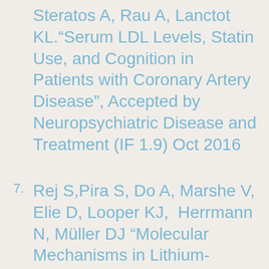Steratos A, Rau A, Lanctot KL.“Serum LDL Levels, Statin Use, and Cognition in Patients with Coronary Artery Disease”, Accepted by Neuropsychiatric Disease and Treatment (IF 1.9) Oct 2016
Rej S,Pira S, Do A, Marshe V, Elie D, Looper KJ, Herrmann N, Müller DJ “Molecular Mechanisms in Lithium-Associated Renal Disease: A Systematic Review”, Int Urol Nephrol. (IF 1.2) 2016 Jun 20. [Epub...